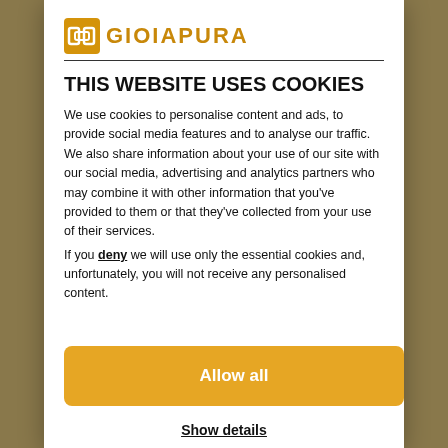[Figure (logo): GioiaPura logo with orange square icon and brand name text]
THIS WEBSITE USES COOKIES
We use cookies to personalise content and ads, to provide social media features and to analyse our traffic. We also share information about your use of our site with our social media, advertising and analytics partners who may combine it with other information that you've provided to them or that they've collected from your use of their services.
If you deny we will use only the essential cookies and, unfortunately, you will not receive any personalised content.
Allow all
Show details